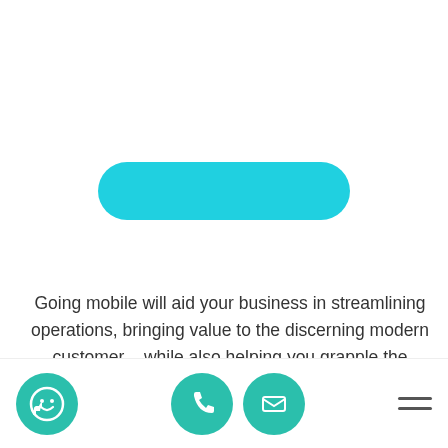[Figure (illustration): A large cyan/turquoise pill-shaped button or decorative element centered horizontally on the page]
Going mobile will aid your business in streamlining operations, bringing value to the discerning modern customer – while also helping you grapple the emerging Big Data trend. Whether this is your first app or tenth, our decade-long track record and expertise in
Footer bar with thumbs-up smiley icon, phone icon, mail icon, and hamburger menu